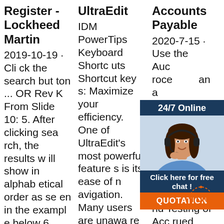Register - Lockheed Martin
2019-10-19 · Click the search button ... OR Rev K From Slide 10: 5. After clicking search, the results will show in alphabetical order as seen in the example below 6. Select a particular supplier to view the expiration date and to verify compliance...
UltraEdit
IDM PowerTips Keyboard Shortcuts Shortcut keys: Maximize your efficiency. One of UltraEdit's most powerful features is its ease of navigation. Many users are unaware of the shortcuts available that add speed/efficiency to this powerful application.
Accounts Payable
2020-7-15 · Use the Auctioneers rock an automated member ticket A: B Description of and how to complete the Identification and Testing of Accrued Expenses p rued Expenses p...
[Figure (infographic): Advertisement widget with '24/7 Online' header, woman with headset photo, 'Click here for free chat!' text, orange QUOTATION button, and TOP logo with dotted ring graphic.]